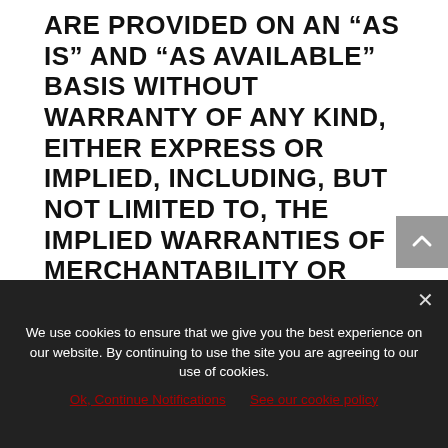ARE PROVIDED ON AN “AS IS” AND “AS AVAILABLE” BASIS WITHOUT WARRANTY OF ANY KIND, EITHER EXPRESS OR IMPLIED, INCLUDING, BUT NOT LIMITED TO, THE IMPLIED WARRANTIES OF MERCHANTABILITY OR FITNESS FOR A PARTICULAR PURPOSE, OR THE WARRANTY OF NON-INFRINGEMENT. WITHOUT LIMITING THE FOREGOING, WE MAKE NO WARRANTY THAT (A) THE SERVICES AND MATERIALS WILL MEET YOUR REQUIREMENTS, (B) THE SERVICES AND
We use cookies to ensure that we give you the best experience on our website. By continuing to use the site you are agreeing to our use of cookies.
Ok, Continue Notifications   See our cookie policy